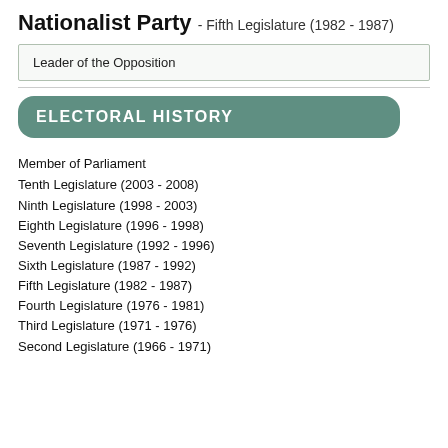Nationalist Party - Fifth Legislature (1982 - 1987)
Leader of the Opposition
ELECTORAL HISTORY
Member of Parliament
Tenth Legislature (2003 - 2008)
Ninth Legislature (1998 - 2003)
Eighth Legislature (1996 - 1998)
Seventh Legislature (1992 - 1996)
Sixth Legislature (1987 - 1992)
Fifth Legislature (1982 - 1987)
Fourth Legislature (1976 - 1981)
Third Legislature (1971 - 1976)
Second Legislature (1966 - 1971)